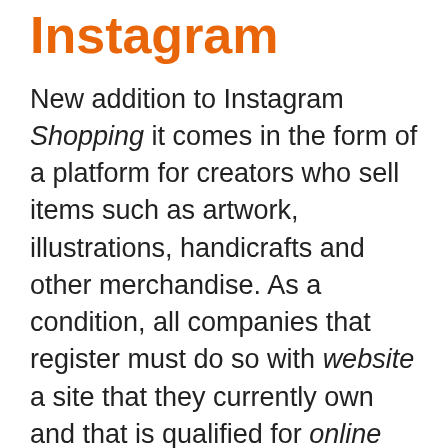Instagram
New addition to Instagram Shopping it comes in the form of a platform for creators who sell items such as artwork, illustrations, handicrafts and other merchandise. As a condition, all companies that register must do so with website a site that they currently own and that is qualified for online and sale.
Whether you are selling candles through an e-commerce site, or you are food a blogger who promotes his own line of dishes, any business or creator an order with at least one accepted product may use sales tags (Shopping Tags) to